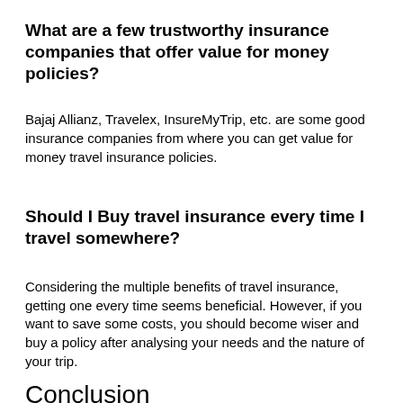What are a few trustworthy insurance companies that offer value for money policies?
Bajaj Allianz, Travelex, InsureMyTrip, etc. are some good insurance companies from where you can get value for money travel insurance policies.
Should I Buy travel insurance every time I travel somewhere?
Considering the multiple benefits of travel insurance, getting one every time seems beneficial. However, if you want to save some costs, you should become wiser and buy a policy after analysing your needs and the nature of your trip.
Conclusion